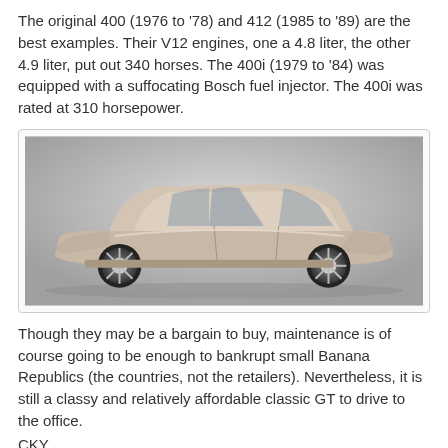The original 400 (1976 to '78) and 412 (1985 to '89) are the best examples. Their V12 engines, one a 4.8 liter, the other 4.9 liter, put out 340 horses. The 400i (1979 to '84) was equipped with a suffocating Bosch fuel injector. The 400i was rated at 310 horsepower.
[Figure (photo): Side profile photo of a silver/champagne Ferrari 400/412 classic GT car on a grey gradient background]
Though they may be a bargain to buy, maintenance is of course going to be enough to bankrupt small Banana Republics (the countries, not the retailers). Nevertheless, it is still a classy and relatively affordable classic GT to drive to the office.
CKY